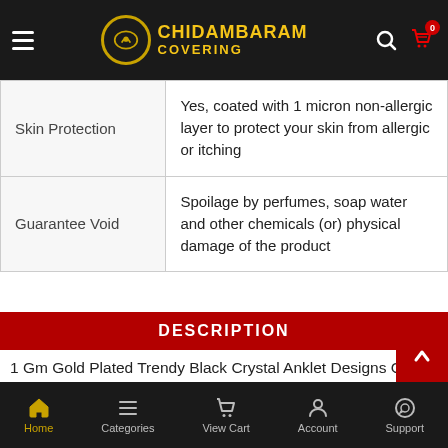Chidambaram Covering
| Skin Protection | Yes, coated with 1 micron non-allergic layer to protect your skin from allergic or itching |
| Guarantee Void | Spoilage by perfumes, soap water and other chemicals (or) physical damage of the product |
DESCRIPTION
1 Gm Gold Plated Trendy Black Crystal Anklet Designs Gold Plated Black Beads Payal Design Online - This one gram gold traditional black moti payal Anklet / Kolusu /Payal imitates just like real gold with trendy black beads on bottom sides of Anklet. This is usually a bridal jewellery worn around the a
Home  Categories  View Cart  Account  Support